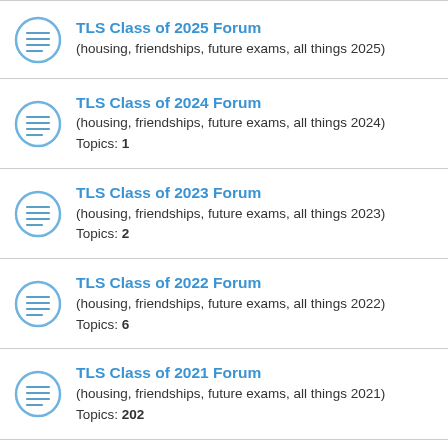TLS Class of 2025 Forum
(housing, friendships, future exams, all things 2025)
TLS Class of 2024 Forum
(housing, friendships, future exams, all things 2024)
Topics: 1
TLS Class of 2023 Forum
(housing, friendships, future exams, all things 2023)
Topics: 2
TLS Class of 2022 Forum
(housing, friendships, future exams, all things 2022)
Topics: 6
TLS Class of 2021 Forum
(housing, friendships, future exams, all things 2021)
Topics: 202